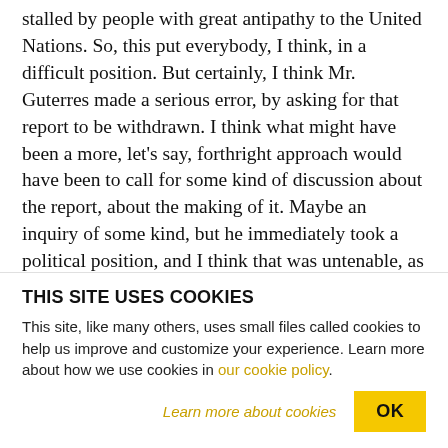stalled by people with great antipathy to the United Nations. So, this put everybody, I think, in a difficult position. But certainly, I think Mr. Guterres made a serious error, by asking for that report to be withdrawn. I think what might have been a more, let's say, forthright approach would have been to call for some kind of discussion about the report, about the making of it. Maybe an inquiry of some kind, but he immediately took a political position, and I think that was untenable, as far as the leadership in ESCWA was concerned. SHARMINI PERIES: All
THIS SITE USES COOKIES
This site, like many others, uses small files called cookies to help us improve and customize your experience. Learn more about how we use cookies in our cookie policy.
Learn more about cookies   OK